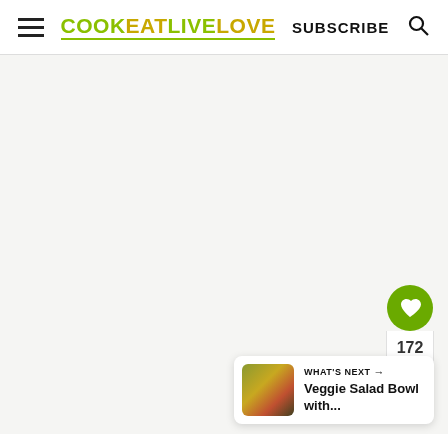COOK EAT LIVE LOVE | SUBSCRIBE
[Figure (screenshot): Main content area of the COOK EAT LIVE LOVE food blog website, showing an empty/loading content area with a light gray background, a green heart/favorite button with count 172, a share button, and a 'What's Next: Veggie Salad Bowl with...' card in the lower right corner.]